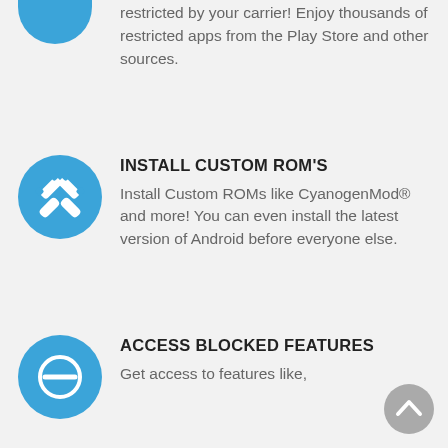[Figure (illustration): Blue circle icon partially visible at top left, cropped]
restricted by your carrier! Enjoy thousands of restricted apps from the Play Store and other sources.
[Figure (illustration): Blue circle icon with wrench/tools (settings/custom ROM) symbol in white]
INSTALL CUSTOM ROM'S
Install Custom ROMs like CyanogenMod® and more! You can even install the latest version of Android before everyone else.
[Figure (illustration): Blue circle icon with no-entry/blocked symbol in white]
ACCESS BLOCKED FEATURES
Get access to features like, the restriction side...
[Figure (illustration): Grey circle scroll-to-top button with upward arrow]